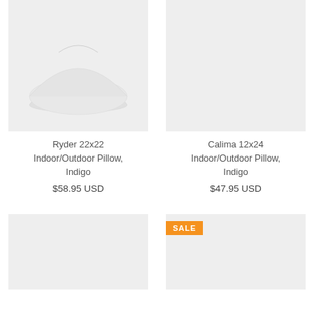[Figure (photo): Product photo of a white/light pillow against a light gray background]
Ryder 22x22 Indoor/Outdoor Pillow, Indigo
$58.95 USD
[Figure (photo): Product photo placeholder - light gray background, no visible pillow]
Calima 12x24 Indoor/Outdoor Pillow, Indigo
$47.95 USD
[Figure (photo): Product photo placeholder - light gray background, partial bottom row]
[Figure (photo): Product photo with SALE badge - light gray background, partial bottom row]